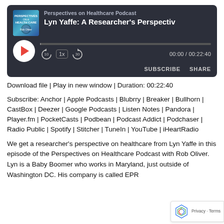[Figure (screenshot): Podcast audio player widget with dark background showing 'Perspectives on Healthcare Podcast' and episode 'Lyn Yaffe: A Researcher's Perspectiv' with play button, rewind/forward controls, 1x speed, progress bar, time 00:00 / 00:22:40, SUBSCRIBE and SHARE buttons]
Download file | Play in new window | Duration: 00:22:40
Subscribe: Anchor | Apple Podcasts | Blubrry | Breaker | Bullhorn | CastBox | Deezer | Google Podcasts | Listen Notes | Pandora | Player.fm | PocketCasts | Podbean | Podcast Addict | Podchaser | Radio Public | Spotify | Stitcher | TuneIn | YouTube | iHeartRadio
We get a researcher's perspective on healthcare from Lyn Yaffe in this episode of the Perspectives on Healthcare Podcast with Rob Oliver. Lyn is a Baby Boomer who works in Maryland, just outside of Washington DC. His company is called EPR